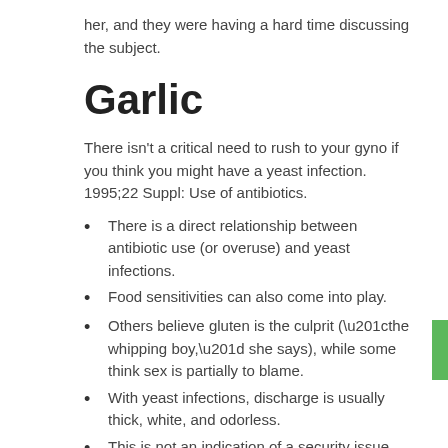her, and they were having a hard time discussing the subject.
Garlic
There isn't a critical need to rush to your gyno if you think you might have a yeast infection. 1995;22 Suppl: Use of antibiotics.
There is a direct relationship between antibiotic use (or overuse) and yeast infections.
Food sensitivities can also come into play.
Others believe gluten is the culprit (“the whipping boy,” she says), while some think sex is partially to blame.
With yeast infections, discharge is usually thick, white, and odorless.
This is not an indication of a security issue such as a virus or attack.